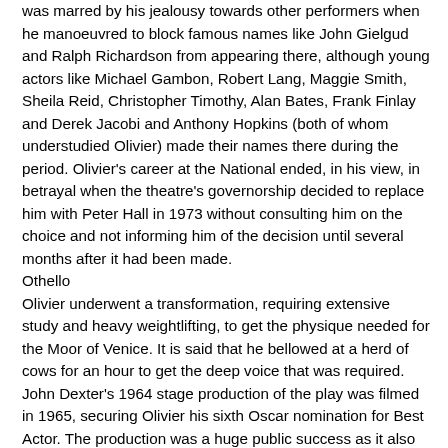was marred by his jealousy towards other performers when he manoeuvred to block famous names like John Gielgud and Ralph Richardson from appearing there, although young actors like Michael Gambon, Robert Lang, Maggie Smith, Sheila Reid, Christopher Timothy, Alan Bates, Frank Finlay and Derek Jacobi and Anthony Hopkins (both of whom understudied Olivier) made their names there during the period. Olivier's career at the National ended, in his view, in betrayal when the theatre's governorship decided to replace him with Peter Hall in 1973 without consulting him on the choice and not informing him of the decision until several months after it had been made.
Othello
Olivier underwent a transformation, requiring extensive study and heavy weightlifting, to get the physique needed for the Moor of Venice. It is said that he bellowed at a herd of cows for an hour to get the deep voice that was required. John Dexter's 1964 stage production of the play was filmed in 1965, securing Olivier his sixth Oscar nomination for Best Actor. The production was a huge public success as it also was with most of the critics. Franco Zeffirelli said of Olivier's acting: "It's an anthology of everything that has been discovered about acting in the past three centuries." Even so, it did not go without criticism, director